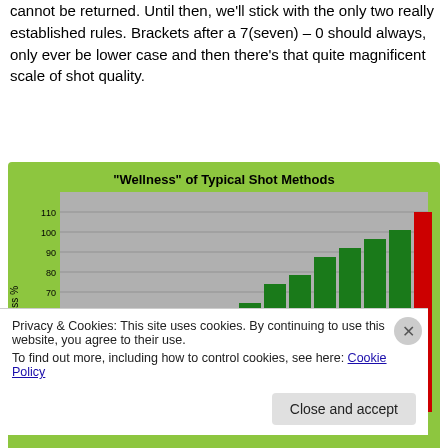cannot be returned. Until then, we'll stick with the only two really established rules. Brackets after a 7(seven) – 0 should always, only ever be lower case and then there's that quite magnificent scale of shot quality.
[Figure (bar-chart): "Wellness" of Typical Shot Methods]
Privacy & Cookies: This site uses cookies. By continuing to use this website, you agree to their use.
To find out more, including how to control cookies, see here: Cookie Policy